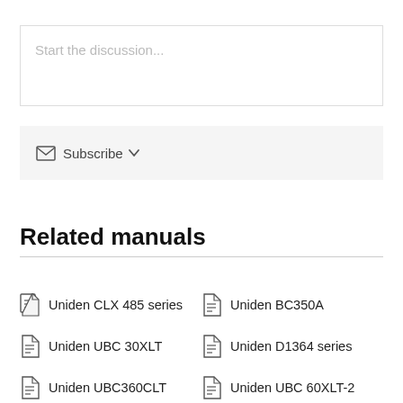Start the discussion...
Subscribe
Related manuals
Uniden CLX 485 series
Uniden BC350A
Uniden UBC 30XLT
Uniden D1364 series
Uniden UBC360CLT
Uniden UBC 60XLT-2